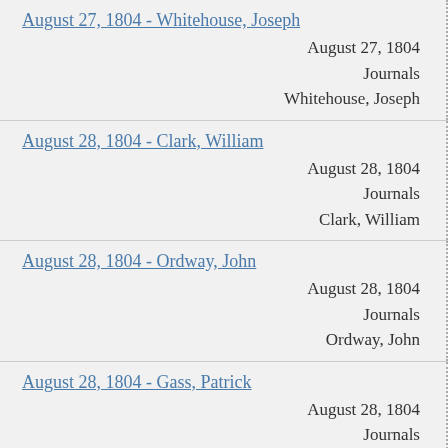August 27, 1804 - Whitehouse, Joseph
August 27, 1804
Journals
Whitehouse, Joseph
August 28, 1804 - Clark, William
August 28, 1804
Journals
Clark, William
August 28, 1804 - Ordway, John
August 28, 1804
Journals
Ordway, John
August 28, 1804 - Gass, Patrick
August 28, 1804
Journals
Gass, Patrick